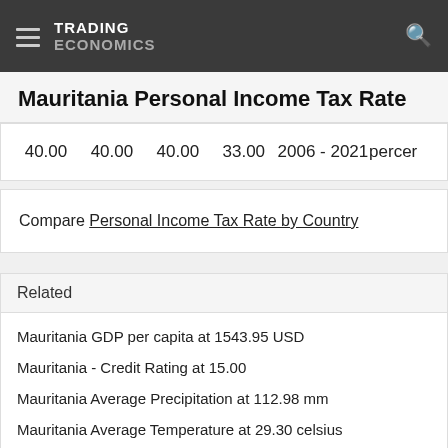TRADING ECONOMICS
Mauritania Personal Income Tax Rate
|  |  |  |  | Period | Unit |
| --- | --- | --- | --- | --- | --- |
| 40.00 | 40.00 | 40.00 | 33.00 | 2006 - 2021 | percent |
Compare Personal Income Tax Rate by Country
Related
Mauritania GDP per capita at 1543.95 USD
Mauritania - Credit Rating at 15.00
Mauritania Average Precipitation at 112.98 mm
Mauritania Average Temperature at 29.30 celsius
Mauritania Gold Reserves at 1.02 Tonnes